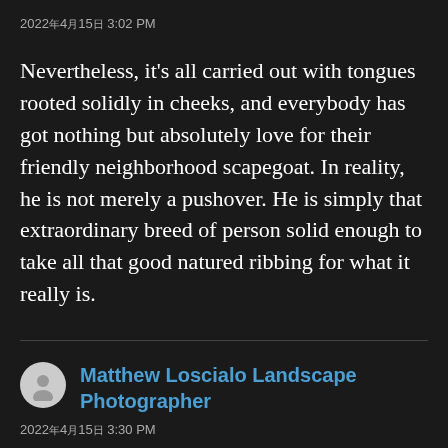2022年4月15日 3:02 PM
Nevertheless, it's all carried out with tongues rooted solidly in cheeks, and everybody has got nothing but absolutely love for their friendly neighborhood scapegoat. In reality, he is not merely a pushover. He is simply that extraordinary breed of person solid enough to take all that good natured ribbing for what it really is.
Matthew Loscialo Landscape Photographer
2022年4月15日 3:30 PM